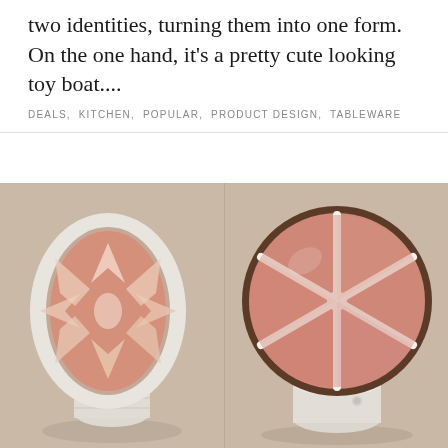two identities, turning them into one form. On the one hand, it's a pretty cute looking toy boat....
DEALS, KITCHEN, POPULAR, PRODUCT DESIGN, TABLEWARE
[Figure (photo): Two views of a circular lamp/light product. Left: side/angled view showing a white circular frame on a cylindrical base with a salmon/peach interior and a star-like reflector pattern visible inside. Right: front view of the same product showing the circular face with a grapefruit-slice pattern in salmon/peach segments divided by white lines, set in a dark brown rim on a white cylindrical base.]